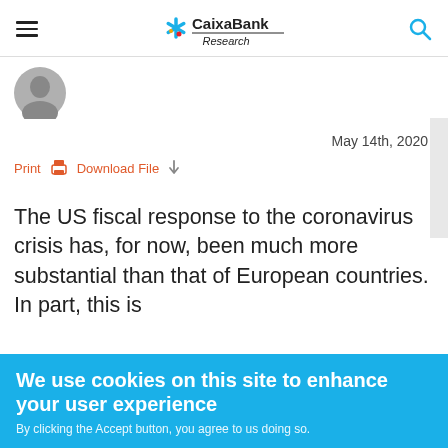CaixaBank Research
[Figure (photo): Circular author headshot photo, grayscale]
May 14th, 2020
Print   Download File
The US fiscal response to the coronavirus crisis has, for now, been much more substantial than that of European countries. In part, this is
We use cookies on this site to enhance your user experience
By clicking the Accept button, you agree to us doing so.